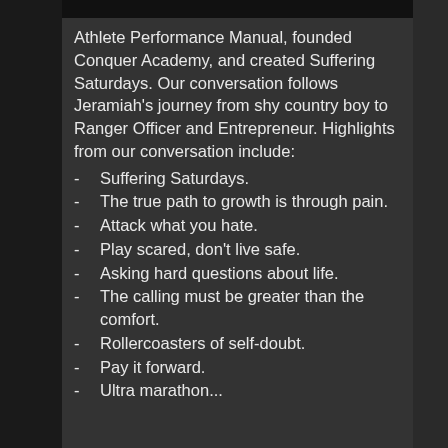Athlete Performance Manual, founded Conquer Academy, and created Suffering Saturdays. Our conversation follows Jeramiah's journey from shy country boy to Ranger Officer and Entrepreneur. Highlights from our conversation include:
Suffering Saturdays.
The true path to growth is through pain.
Attack what you hate.
Play scared, don't live safe.
Asking hard questions about life.
The calling must be greater than the comfort.
Rollercoasters of self-doubt.
Pay it forward.
Ultra marathon...